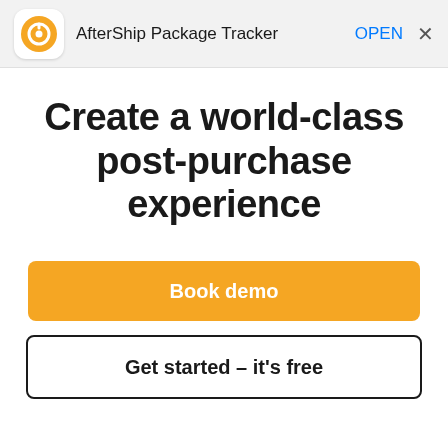AfterShip Package Tracker  OPEN ×
Create a world-class post-purchase experience
Book demo
Get started – it's free